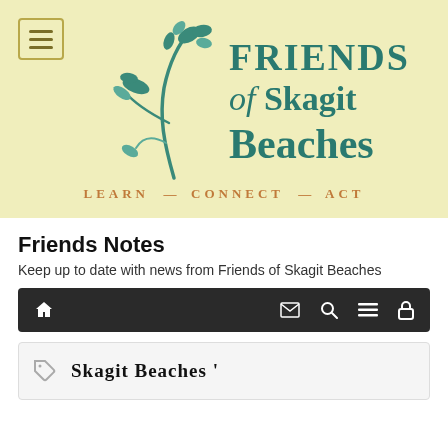[Figure (logo): Friends of Skagit Beaches logo with teal botanical illustration and serif text, on yellow-green background. Includes hamburger menu icon top-left.]
Friends Notes
Keep up to date with news from Friends of Skagit Beaches
[Figure (screenshot): Dark navigation bar with home, envelope, search, menu, and lock icons]
Skagit Beaches '